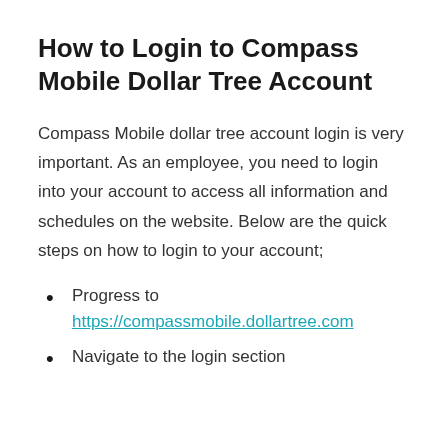How to Login to Compass Mobile Dollar Tree Account
Compass Mobile dollar tree account login is very important. As an employee, you need to login into your account to access all information and schedules on the website. Below are the quick steps on how to login to your account;
Progress to https://compassmobile.dollartree.com
Navigate to the login section